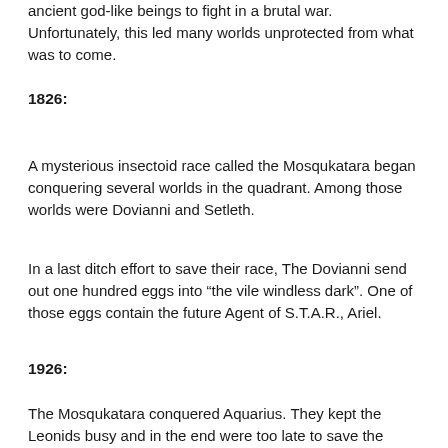ancient god-like beings to fight in a brutal war. Unfortunately, this led many worlds unprotected from what was to come.
1826:
A mysterious insectoid race called the Mosqukatara began conquering several worlds in the quadrant. Among those worlds were Dovianni and Setleth.
In a last ditch effort to save their race, The Dovianni send out one hundred eggs into “the vile windless dark”. One of those eggs contain the future Agent of S.T.A.R., Ariel.
1926:
The Mosqukatara conquered Aquarius. They kept the Leonids busy and in the end were too late to save the